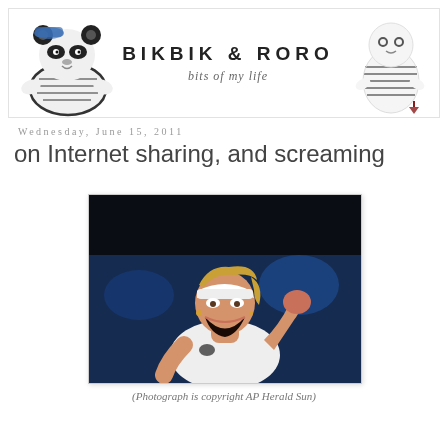[Figure (illustration): Blog header banner with two plush toy mascots (a panda bear on left and a white ghost/blob figure on right) flanking the blog title text in the center. Left mascot is a panda in striped shirt; right mascot is a white blob figure in striped shirt.]
BIKBIK & RORO
bits of my life
Wednesday, June 15, 2011
on Internet sharing, and screaming
[Figure (photo): A female tennis player wearing a white Nike outfit and white visor, screaming and celebrating with a raised fist, mouth wide open in excitement. Background is dark with blurred blue court/crowd.]
(Photograph is copyright AP Herald Sun)